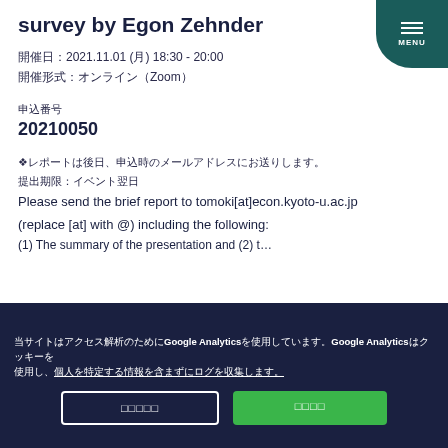survey by Egon Zehnder
開催日2021.11.01 (月) 18:30 - 20:00
開催形式：オンライン（Zoom）
申込番号
20210050
※レポートは後日、申込時のメールに送付いたします。
提出締切：イベント翌日
Please send the brief report to tomoki[at]econ.kyoto-u.ac.jp (replace [at] with @) including the following:
(1) The summary of the presentation and (2) what you learned
当サイトはアクセス解析のためにGoogle Analyticsを使用しています。Google Analyticsはクッキーを使用し、個人を特定する情報を含まずにログを収集します。